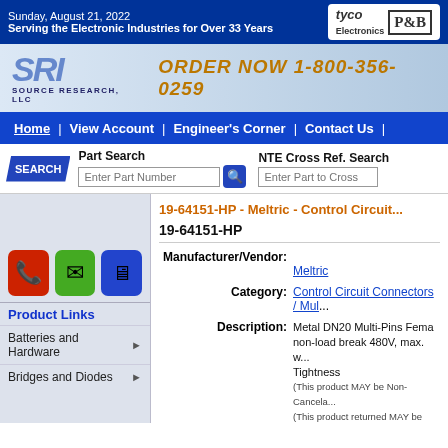Sunday, August 21, 2022
Serving the Electronic Industries for Over 33 Years
[Figure (logo): SRI Source Research LLC logo and Tyco Electronics P&B logo]
ORDER NOW 1-800-356-0259
Home | View Account | Engineer's Corner | Contact Us
Part Search | NTE Cross Ref. Search
19-64151-HP - Meltric - Control Circuit...
19-64151-HP
Manufacturer/Vendor: Meltric
Category: Control Circuit Connectors / Mul...
Description: Metal DN20 Multi-Pins Female non-load break 480V, max. w... Tightness (This product MAY be Non-Cancela... (This product returned MAY be sub...
Product Links
Batteries and Hardware
Bridges and Diodes
Product Note: ††† Obsolete †††